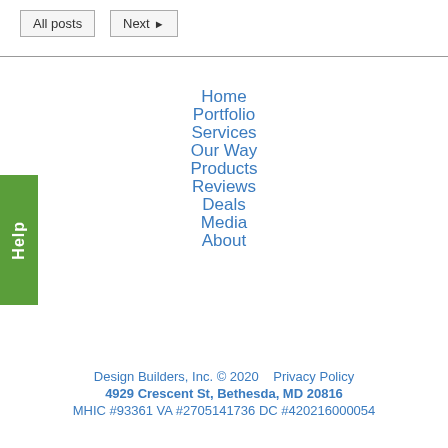All posts
Next ▶
Home
Portfolio
Services
Our Way
Products
Reviews
Deals
Media
About
Design Builders, Inc. © 2020   Privacy Policy
4929 Crescent St, Bethesda, MD 20816
MHIC #93361 VA #2705141736 DC #420216000054